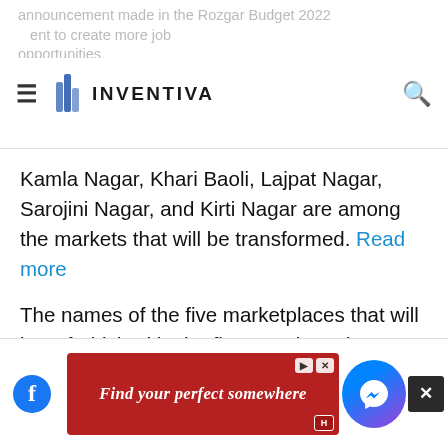announcement made in the Rozgar Budget 2022 ... ent to create more job opportunities.
[Figure (logo): Inventiva logo with hamburger menu and search icon]
Kamla Nagar, Khari Baoli, Lajpat Nagar, Sarojini Nagar, and Kirti Nagar are among the markets that will be transformed. Read more
The names of the five marketplaces that will be refurbished in the first step have been decided, according to the chief minister.” “We’ve also mentioned their one-of-a-kind selling points.”
“For instance, Kamla Nagar is a famous hangout zone for young people, Khari Baoli is rece…
[Figure (screenshot): Advertisement banner: Find your perfect somewhere, with close button and messenger icon]